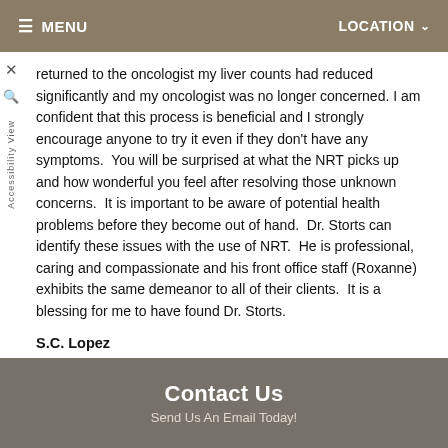≡ MENU   LOCATION ∨
returned to the oncologist my liver counts had reduced significantly and my oncologist was no longer concerned. I am confident that this process is beneficial and I strongly encourage anyone to try it even if they don't have any symptoms. You will be surprised at what the NRT picks up and how wonderful you feel after resolving those unknown concerns. It is important to be aware of potential health problems before they become out of hand. Dr. Storts can identify these issues with the use of NRT. He is professional, caring and compassionate and his front office staff (Roxanne) exhibits the same demeanor to all of their clients. It is a blessing for me to have found Dr. Storts.
S.C. Lopez
Contact Us
Send Us An Email Today!